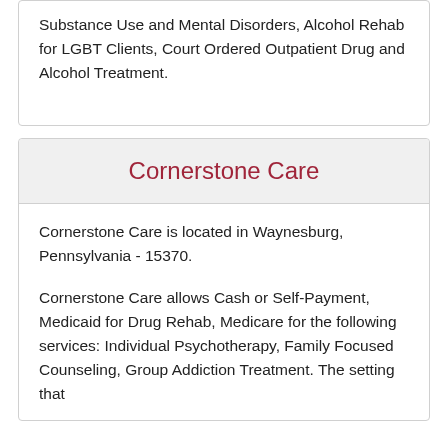Substance Use and Mental Disorders, Alcohol Rehab for LGBT Clients, Court Ordered Outpatient Drug and Alcohol Treatment.
Cornerstone Care
Cornerstone Care is located in Waynesburg, Pennsylvania - 15370.
Cornerstone Care allows Cash or Self-Payment, Medicaid for Drug Rehab, Medicare for the following services: Individual Psychotherapy, Family Focused Counseling, Group Addiction Treatment. The setting that